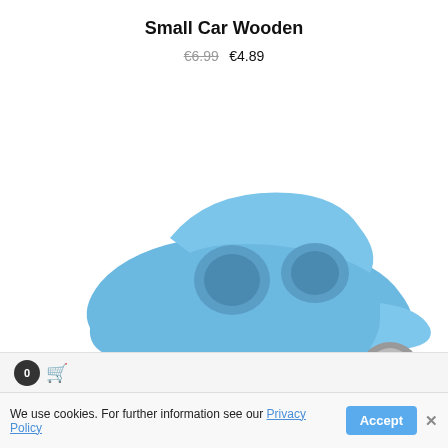Small Car Wooden
€6.99  €4.89
-30%
[Figure (photo): Close-up photo of a small blue wooden toy car with round cutout windows and a natural wood wheel visible on a white background]
We use cookies. For further information see our Privacy Policy  Accept